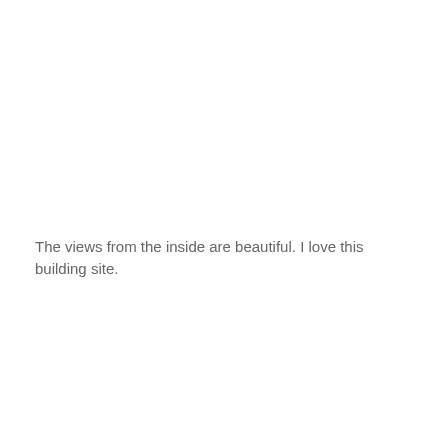The views from the inside are beautiful. I love this building site.